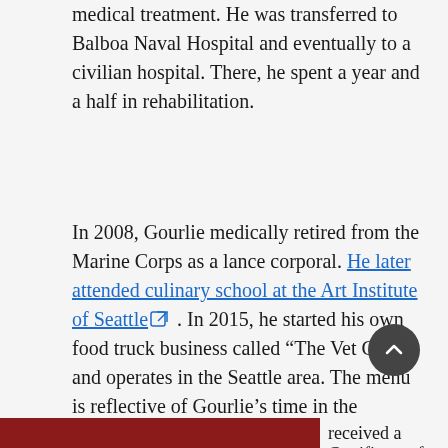medical treatment. He was transferred to Balboa Naval Hospital and eventually to a civilian hospital. There, he spent a year and a half in rehabilitation.
In 2008, Gourlie medically retired from the Marine Corps as a lance corporal. He later attended culinary school at the Art Institute of Seattle [external link]. In 2015, he started his own food truck business called “The Vet Chef,” and operates in the Seattle area. The menu is reflective of Gourlie’s time in the military, serving San Diego-style burritos and carne asada fries [external link]. He wants to employ Veterans transitioning to civilian life and make a difference in Veterans’ lives.
Gourlie received a Certificate of...